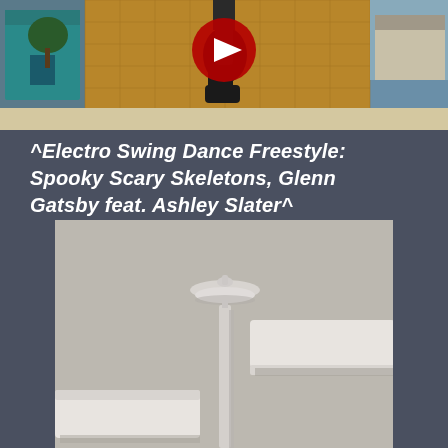[Figure (screenshot): YouTube video thumbnail showing a dancer in black boots performing on a stage with a golden-tiled wall backdrop and a YouTube play button overlay. Houses and a car visible in background.]
^Electro Swing Dance Freestyle: Spooky Scary Skeletons, Glenn Gatsby feat. Ashley Slater^
[Figure (photo): A white street lamp post photographed from below against a gray concrete/asphalt surface with white painted curb markers visible.]